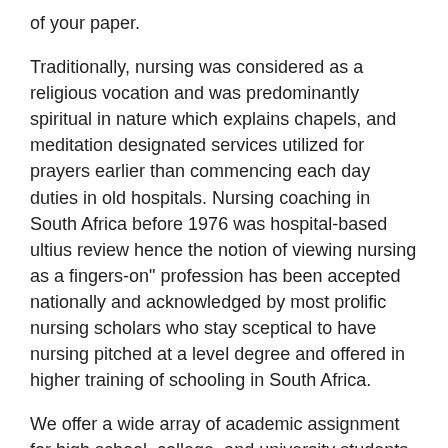of your paper.
Traditionally, nursing was considered as a religious vocation and was predominantly spiritual in nature which explains chapels, and meditation designated services utilized for prayers earlier than commencing each day duties in old hospitals. Nursing coaching in South Africa before 1976 was hospital-based ultius review hence the notion of viewing nursing as a fingers-on" profession has been accepted nationally and acknowledged by most prolific nursing scholars who stay sceptical to have nursing pitched at a level degree and offered in higher training of schooling in South Africa.
We offer a wide array of academic assignment for high school, college, and university students who need to enhance their study stage. The service